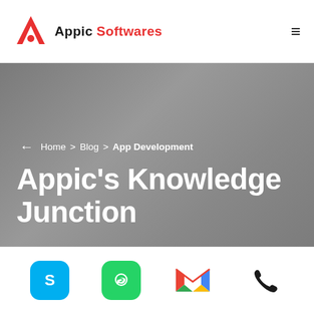[Figure (logo): Appic Softwares logo with red triangle/chevron icon and text 'Appic Softwares' where 'Softwares' is in red]
[Figure (screenshot): Gray textured hero banner with breadcrumb navigation showing '← Home > Blog > App Development' and large white title 'Appic's Knowledge Junction']
[Figure (infographic): Bottom icon bar with four social/contact icons: Skype (blue rounded square), WhatsApp (green rounded square), Gmail (red M logo), and phone (black handset icon)]